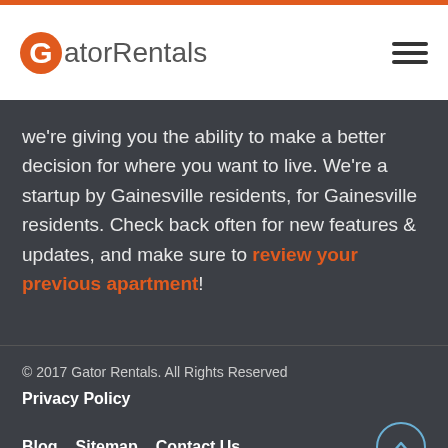GatorRentals
we're giving you the ability to make a better decision for where you want to live. We're a startup by Gainesville residents, for Gainesville residents. Check back often for new features & updates, and make sure to review your previous apartment!
© 2017 Gator Rentals. All Rights Reserved
Privacy Policy
Blog   Sitemap   Contact Us